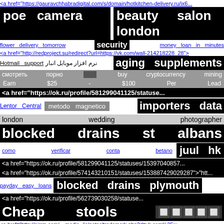<a href="https://gauravchhabradigital.com/s/domain/hotkitchen-delivery.ru/ix6...
poe camera   beauty salon london
flower delivery tomorrow   security   money loan in minutes
<a href="http://redproject.su/redirect?url=https://vk.com/wall-214218228_28">
Hotmail support   نرم افزار موبایل انبار   aging supplements
смотреть порно   buy cryptocurrency mining   Earn $25 - $100 Per Lead
<a href="https://ok.ru/profile/581299041125/statuses...
Lentor Central   metodo magnetico   importers data
london   wedding   photographer
blocked drains st albans
como verificar conta betano   juul hk
<a href="https://ok.ru/profile/581299041125/statuses/153970408570...
<a href="https://ok.ru/profile/574143210151/statuses/153887429029287">"htt...
payday easy loans   blocked drains plymouth
<a href="https://ok.ru/profile/562739030258/statuses...
Cheap stools   🔲🔲🔲🔲🔲
<a href="http://airrm.com/_media_/js/netsoltrademark.php?d=vk.com%2Fw...
Apple iPhone 11 phone case
https://aklexterminateur.com/